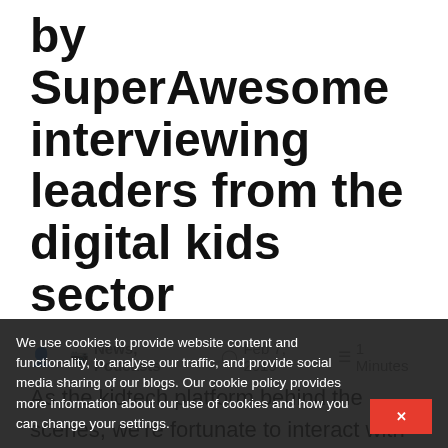by SuperAwesome interviewing leaders from the digital kids sector
News, Podcasts   Feb 7, 2019   1 Minutes
As the kidtech platform behind the scenes, we're fortunate to interact with a huge range of people in our sector, from startup founders and toy industry legends to policy-makers and YouTube content creators. We thought it'd be great to hear their perspectives on our industry. So we're very pleased to announce... hosted by SuperAwesome CEO Dylan Coll...
We use cookies to provide website content and functionality, to analyse our traffic, and provide social media sharing of our blogs. Our cookie policy provides more information about our use of cookies and how you can change your settings.